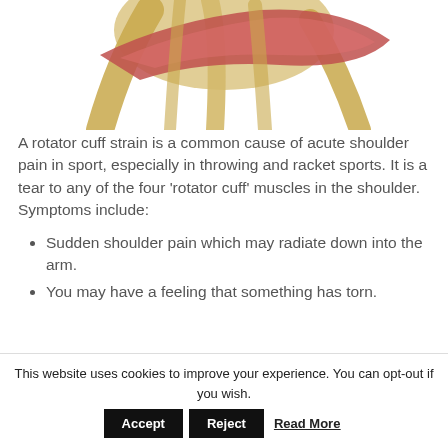[Figure (illustration): Anatomical illustration of a shoulder joint showing rotator cuff muscles in pink/red and tendons/bones in yellow/beige, cropped to show upper portion.]
A rotator cuff strain is a common cause of acute shoulder pain in sport, especially in throwing and racket sports. It is a tear to any of the four ‘rotator cuff’ muscles in the shoulder. Symptoms include:
Sudden shoulder pain which may radiate down into the arm.
You may have a feeling that something has torn.
This website uses cookies to improve your experience. You can opt-out if you wish. Accept  Reject  Read More